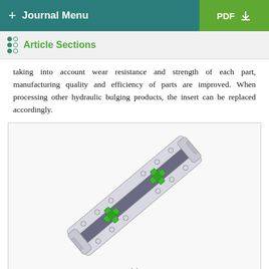+ Journal Menu  PDF ↓
Article Sections
taking into account wear resistance and strength of each part, manufacturing quality and efficiency of parts are improved. When processing other hydraulic bulging products, the insert can be replaced accordingly.
[Figure (engineering-diagram): 3D isometric view of a hydraulic bulging insert/die assembly showing a rectangular elongated tool with mounting holes and green cross-shaped inserts at two locations along the center]
(a)
[Figure (engineering-diagram): Thumbnail view of hydraulic bulging die assembly - left piece showing green cross insert]
[Figure (engineering-diagram): Thumbnail view of hydraulic bulging die assembly - right piece showing elongated rail section]